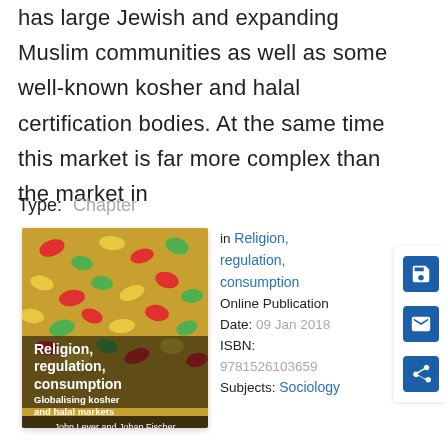has large Jewish and expanding Muslim communities as well as some well-known kosher and halal certification bodies. At the same time this market is far more complex than the market in
Type:  Chapter
[Figure (photo): Book cover of 'Religion, regulation, consumption: Globalising kosher and halal markets' by John Lever and Johan Fischer. Cover shows colorful gummy candy/bears. Bold white text on cover.]
in Religion, regulation, consumption Online Publication Date:  09 Jan 2018 ISBN: 9781526103659 Subjects:  Sociology